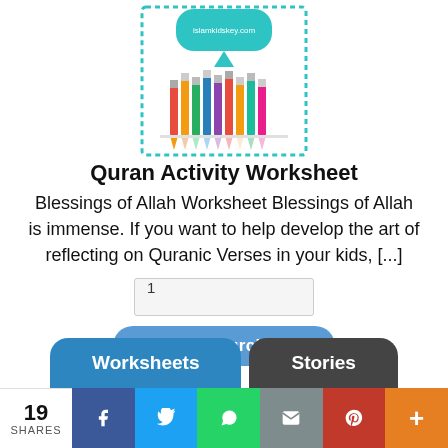[Figure (illustration): Quran Activity Worksheet cover image with colorful pencils and teal decorative border]
Quran Activity Worksheet
Blessings of Allah Worksheet Blessings of Allah is immense. If you want to help develop the art of reflecting on Quranic Verses in your kids, [...]
1
$3.00 – Purchase
Worksheets
Stories
19
SHARES